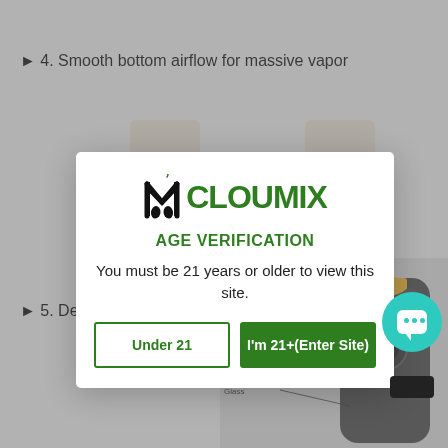▶ 4. Smooth bottom airflow for massive vapor
[Figure (screenshot): Age verification modal overlay on Cloumix vape product website. Modal contains the Cloumix logo, AGE VERIFICATION heading in green, text requiring users to be 21+, and two buttons: 'Under 21' (outlined) and 'I'm 21+(Enter Site)' (green filled). Background shows partially visible product listing page with a chat button in lower right.]
▶ 5. Det... ance
[Figure (photo): Annotated product diagram showing vape components: Top Cap, Chimney, Barrel, Glass]